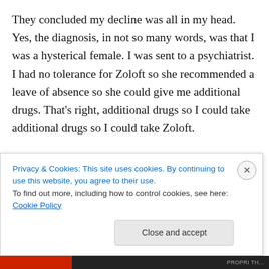They concluded my decline was all in my head. Yes, the diagnosis, in not so many words, was that I was a hysterical female. I was sent to a psychiatrist. I had no tolerance for Zoloft so she recommended a leave of absence so she could give me additional drugs. That's right, additional drugs so I could take additional drugs so I could take Zoloft.
I took the time off. I never went back to that job again.
On May 6th, 2010 I was rushed to the hospital and placed in the ICU. I received 25 procedures, including intubation and...
Privacy & Cookies: This site uses cookies. By continuing to use this website, you agree to their use.
To find out more, including how to control cookies, see here: Cookie Policy